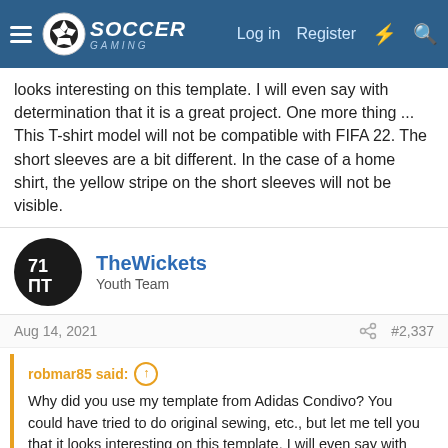Soccer Gaming - Header navigation with Logo, Log in, Register links
looks interesting on this template. I will even say with determination that it is a great project. One more thing ... This T-shirt model will not be compatible with FIFA 22. The short sleeves are a bit different. In the case of a home shirt, the yellow stripe on the short sleeves will not be visible.
TheWickets
Youth Team
Aug 14, 2021  #2,337
robmar85 said:
Why did you use my template from Adidas Condivo? You could have tried to do original sewing, etc., but let me tell you that it looks interesting on this template. I will even say with determination that it is a great project. One more thing ... This T-shirt model will not be compatible with FIFA 22. The short sleeves are a bit different. In the case of a home shirt, the yellow stripe on the short sleeves will not be visible.